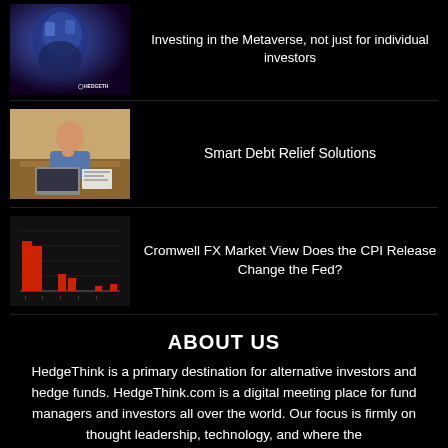[Figure (photo): Robot or digital figure with blue/purple tones, HedgeThink watermark]
Investing in the Metaverse, not just for individual investors
[Figure (photo): Person sitting at desk looking stressed, working on laptop with papers]
Smart Debt Relief Solutions
[Figure (bar-chart): Red bar chart on dark background showing FX market data]
Cromwell FX Market View Does the CPI Release Change the Fed?
ABOUT US
HedgeThink is a primary destination for alternative investors and hedge funds. HedgeThink.com is a digital meeting place for fund managers and investors all over the world. Our focus is firmly on thought leadership, technology, and where the